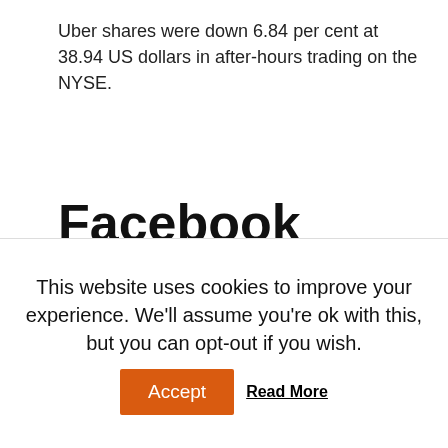Uber shares were down 6.84 per cent at 38.94 US dollars in after-hours trading on the NYSE.
Facebook attacks Snap with new WhatsApp offer
Facebook is giving Snap more competition with a new version of the offering of it...
This website uses cookies to improve your experience. We'll assume you're ok with this, but you can opt-out if you wish. Accept Read More